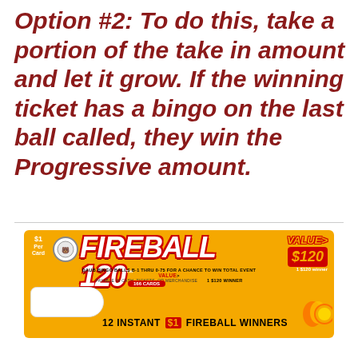Option #2: To do this, take a portion of the take in amount and let it grow. If the winning ticket has a bingo on the last ball called, they win the Progressive amount.
[Figure (photo): Fireball 120 bingo pull-tab ticket package. Orange background with red and yellow 'FIREBALL 120' logo text. Text reads: '$1 Per Card', 'DAUB BINGO BALLS B-1 THRU 0-75 FOR A CHANCE TO WIN TOTAL EVENT VALUE', 'PAYABLE IN CASH, TICKETS, OR MERCHANDISE', '1 $120 winner', 'VALUE $120', '166 CARDS', '12 INSTANT $1 FIREBALL WINNERS'. Shows a white ticket stub area on the left and flame graphics on the right.]